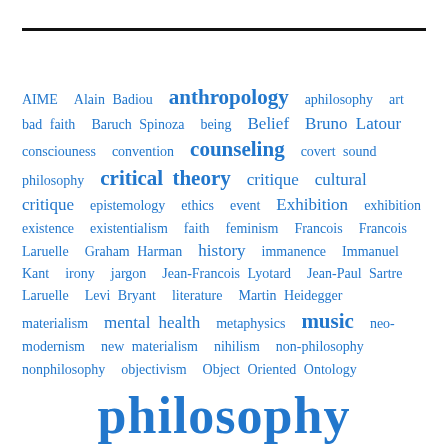[Figure (other): Tag cloud of philosophy-related terms in varying font sizes in blue, with a horizontal rule at the top and the word 'philosophy' in large text at the bottom.]